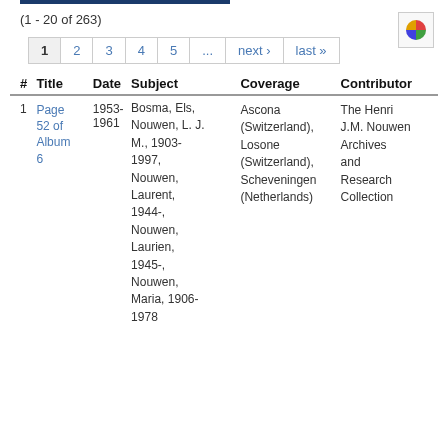(1 - 20 of 263)
[Figure (other): Pie chart icon in a small box]
| # | Title | Date | Subject | Coverage | Contributor |
| --- | --- | --- | --- | --- | --- |
| 1 | Page 52 of Album 6 | 1953-1961 | Bosma, Els, Nouwen, L. J. M., 1903-1997, Nouwen, Laurent, 1944-, Nouwen, Laurien, 1945-, Nouwen, Maria, 1906-1978 | Ascona (Switzerland), Losone (Switzerland), Scheveningen (Netherlands) | The Henri J.M. Nouwen Archives and Research Collection |